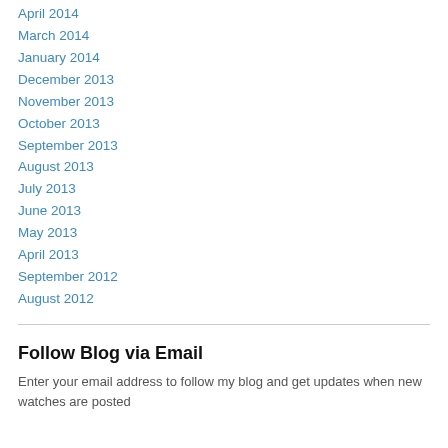April 2014
March 2014
January 2014
December 2013
November 2013
October 2013
September 2013
August 2013
July 2013
June 2013
May 2013
April 2013
September 2012
August 2012
Follow Blog via Email
Enter your email address to follow my blog and get updates when new watches are posted